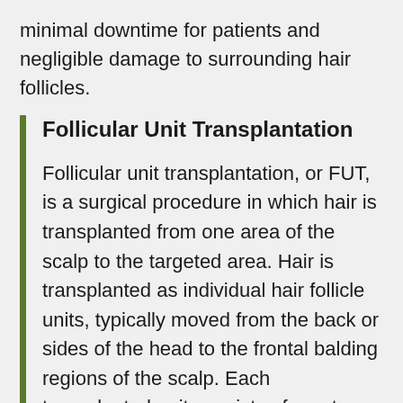minimal downtime for patients and negligible damage to surrounding hair follicles.
Follicular Unit Transplantation
Follicular unit transplantation, or FUT, is a surgical procedure in which hair is transplanted from one area of the scalp to the targeted area. Hair is transplanted as individual hair follicle units, typically moved from the back or sides of the head to the frontal balding regions of the scalp. Each transplanted unit consists of one to four individual hairs.
The surgical procedure may last from 5 to 10 hours and is performed under local anesthesia. For some patients, only one